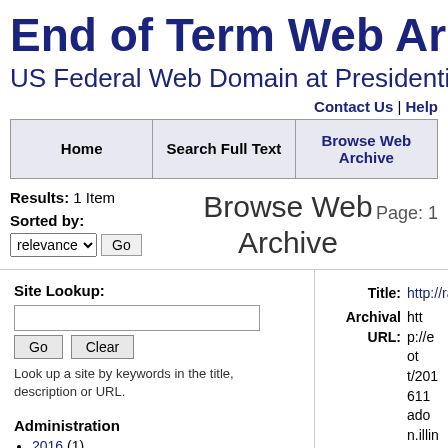End of Term Web Archive
US Federal Web Domain at Presidential
Contact Us | Help
| Home | Search Full Text | Browse Web Archive |
| --- | --- | --- |
Results: 1 Item
Browse Web Archive
Page: 1
Sorted by: relevance Go
Site Lookup:
Go Clear
Look up a site by keywords in the title, description or URL.
Administration
2016 (1)
Title: http://ra...
Archival URL: http://eot/20161... adon.illin...
Live URL: http://rad...
Coverage: November... November...